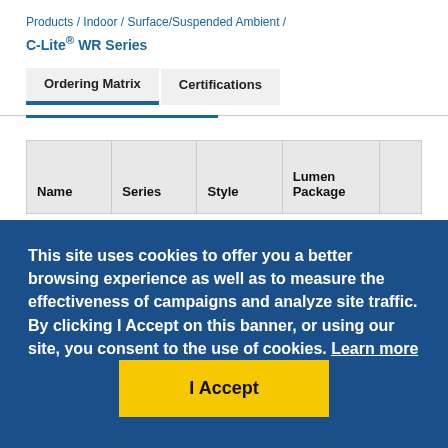Products / Indoor / Surface/Suspended Ambient / C-Lite® WR Series
Ordering Matrix   Certifications
| Name | Series | Style | Lumen Package |  |
| --- | --- | --- | --- | --- |
This site uses cookies to offer you a better browsing experience as well as to measure the effectiveness of campaigns and analyze site traffic. By clicking I Accept on this banner, or using our site, you consent to the use of cookies. Learn more
I Accept